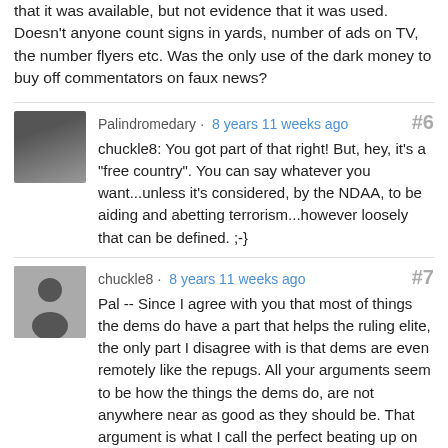that it was available, but not evidence that it was used. Doesn't anyone count signs in yards, number of ads on TV, the number flyers etc. Was the only use of the dark money to buy off commentators on faux news?
Palindromedary · 8 years 11 weeks ago #6
chuckle8: You got part of that right! But, hey, it's a "free country". You can say whatever you want...unless it's considered, by the NDAA, to be aiding and abetting terrorism...however loosely that can be defined. ;-}
chuckle8 · 8 years 11 weeks ago #7
Pal -- Since I agree with you that most of things the dems do have a part that helps the ruling elite, the only part I disagree with is that dems are even remotely like the repugs. All your arguments seem to be how the things the dems do, are not anywhere near as good as they should be. That argument is what I call the perfect beating up on the good. In that vein, you forgot one important example. Medicare was a sell out to the AMA. Part D the pharma support change to medicare is an